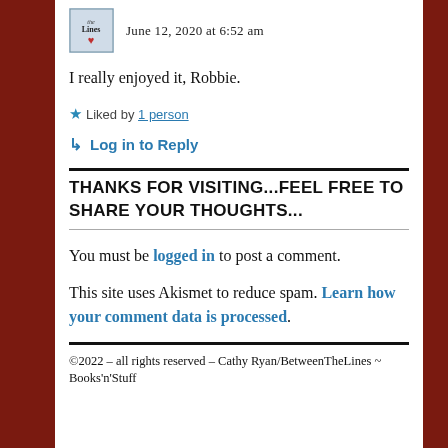[Figure (logo): Small blog avatar image with 'the Lines' text and a heart design]
June 12, 2020 at 6:52 am
I really enjoyed it, Robbie.
★ Liked by 1 person
↳ Log in to Reply
THANKS FOR VISITING...FEEL FREE TO SHARE YOUR THOUGHTS...
You must be logged in to post a comment.
This site uses Akismet to reduce spam. Learn how your comment data is processed.
©2022 – all rights reserved – Cathy Ryan/BetweenTheLines ~ Books'n'Stuff